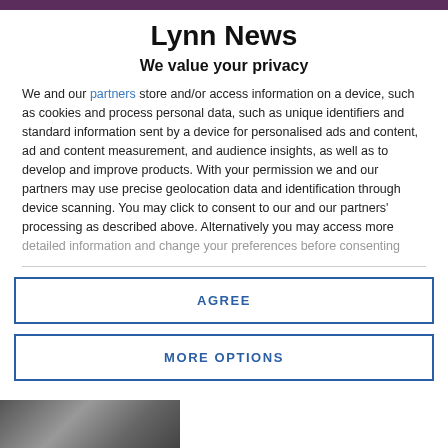Lynn News
We value your privacy
We and our partners store and/or access information on a device, such as cookies and process personal data, such as unique identifiers and standard information sent by a device for personalised ads and content, ad and content measurement, and audience insights, as well as to develop and improve products. With your permission we and our partners may use precise geolocation data and identification through device scanning. You may click to consent to our and our partners' processing as described above. Alternatively you may access more detailed information and change your preferences before consenting
AGREE
MORE OPTIONS
[Figure (photo): Partial view of a photograph at the bottom of the page, appears to show an outdoor or vehicle scene in dark tones]